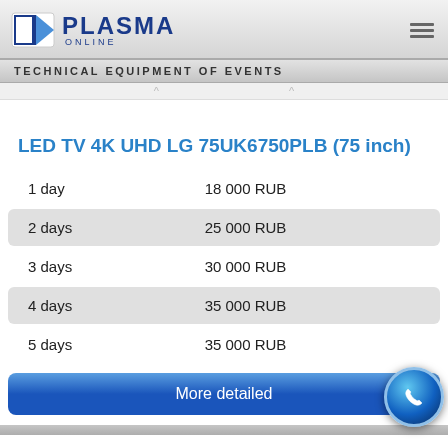[Figure (logo): Plasma Online logo with blue triangle/arrow icon and bold blue PLASMA ONLINE text]
TECHNICAL EQUIPMENT OF EVENTS
LED TV 4K UHD LG 75UK6750PLB (75 inch)
| Duration | Price |
| --- | --- |
| 1 day | 18 000 RUB |
| 2 days | 25 000 RUB |
| 3 days | 30 000 RUB |
| 4 days | 35 000 RUB |
| 5 days | 35 000 RUB |
More detailed